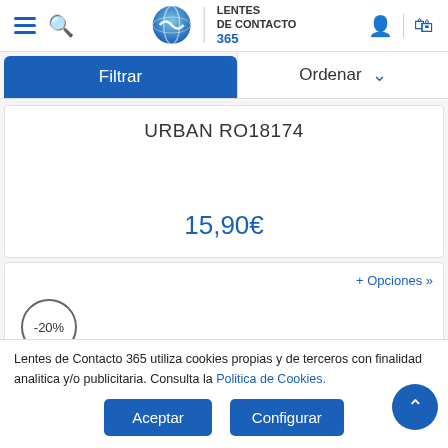[Figure (screenshot): Website header with hamburger menu, search icon, Lentes de Contacto 365 logo with globe icon, user icon and shopping bag icon]
Filtrar
Ordenar
URBAN RO18174
15,90€
+ Opciones »
-20%
Lentes de Contacto 365 utiliza cookies propias y de terceros con finalidad analitica y/o publicitaria. Consulta la Politica de Cookies.
Aceptar
Configurar